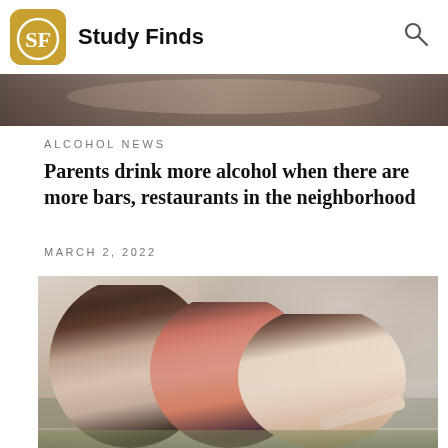Study Finds
[Figure (photo): Partially visible photo strip at top of page, appears to be a crowd or social gathering scene]
ALCOHOL NEWS
Parents drink more alcohol when there are more bars, restaurants in the neighborhood
MARCH 2, 2022
[Figure (photo): Two or three young girls sitting together outdoors with their backs to the camera, one appearing to whisper to another]